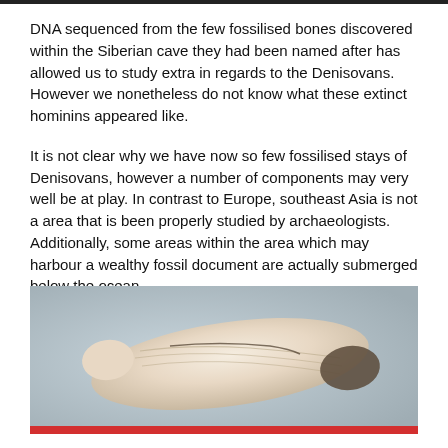DNA sequenced from the few fossilised bones discovered within the Siberian cave they had been named after has allowed us to study extra in regards to the Denisovans. However we nonetheless do not know what these extinct hominins appeared like.
It is not clear why we have now so few fossilised stays of Denisovans, however a number of components may very well be at play. In contrast to Europe, southeast Asia is not a area that is been properly studied by archaeologists. Additionally, some areas within the area which may harbour a wealthy fossil document are actually submerged below the ocean.
[Figure (photo): Photograph of a fossilised bone specimen, cream/white colored, elongated, on a light blue-grey background. Partially cut off at bottom by red bar.]